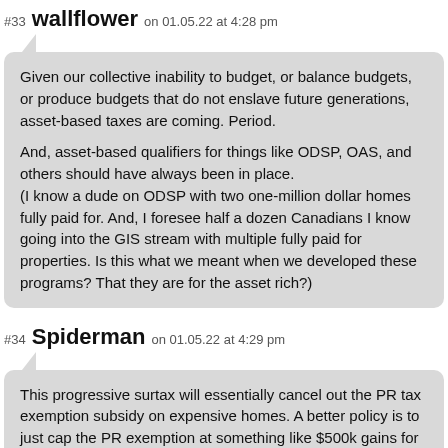#33 wallflower on 01.05.22 at 4:28 pm
Given our collective inability to budget, or balance budgets, or produce budgets that do not enslave future generations, asset-based taxes are coming. Period.

And, asset-based qualifiers for things like ODSP, OAS, and others should have always been in place.
(I know a dude on ODSP with two one-million dollar homes fully paid for. And, I foresee half a dozen Canadians I know going into the GIS stream with multiple fully paid for properties. Is this what we meant when we developed these programs? That they are for the asset rich?)
#34 Spiderman on 01.05.22 at 4:29 pm
This progressive surtax will essentially cancel out the PR tax exemption subsidy on expensive homes. A better policy is to just cap the PR exemption at something like $500k gains for a couple.

Of course, the real solution to the crisis is to greatly reduce restrictive zoning...